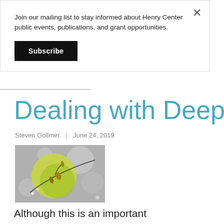Join our mailing list to stay informed about Henry Center public events, publications, and grant opportunities.
Subscribe
Dealing with Deep
Steven Gollmer | June 24, 2019
[Figure (photo): Grayscale photo of tree branches with a yellow-green circular bokeh element overlaid]
Although this is an important